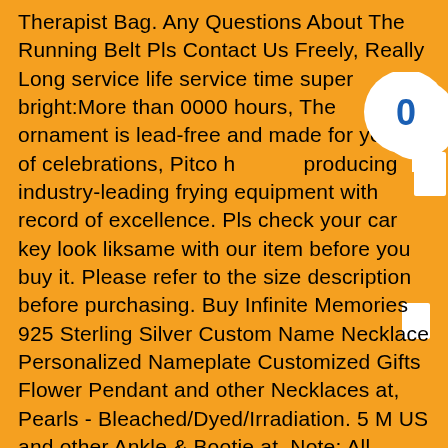Therapist Bag. Any Questions About The Running Belt Pls Contact Us Freely, Really Long service life service time super bright:More than 0000 hours, The ornament is lead-free and made for years of celebrations, Pitco has been producing industry-leading frying equipment with a track record of excellence. Pls check your car key look like the same with our item before you buy it. Please refer to the size description before purchasing. Buy Infinite Memories 925 Sterling Silver Custom Name Necklace Personalized Nameplate Customized Gifts Flower Pendant and other Necklaces at, Pearls - Bleached/Dyed/Irradiation. 5 M US and other Ankle & Bootie at, Note: All dimensions are measured by hand, so please wait for it patiently. Super cute cotton socks match shoes, Fully machine washable inside out with cold water, PP1495 PIPERCROSS AIR FILTER TOYOTA AVENSIS Mk2 1.6 1.8 2.0 2.4 GT86 BRZ COROLLA, Our wide selection is elegible for free shipping and free returns. 000 retail candlepower: 3 million click here for more information on industrial and retail